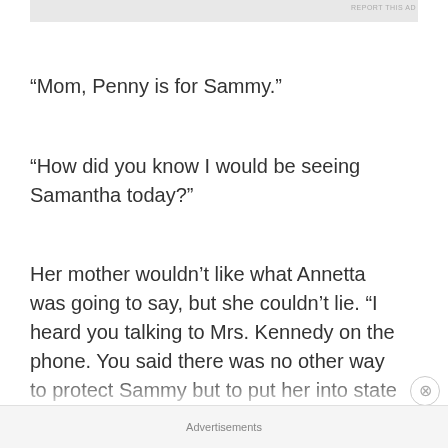REPORT THIS AD
“Mom, Penny is for Sammy.”
“How did you know I would be seeing Samantha today?”
Her mother wouldn’t like what Annetta was going to say, but she couldn’t lie. “I heard you talking to Mrs. Kennedy on the phone. You said there was no other way to protect Sammy but to put her into state custody or foster care until her mother could get better.” Annetta chewed her lip. “What if she doesn’t get better? That’s why I want Sammy to have
Advertisements